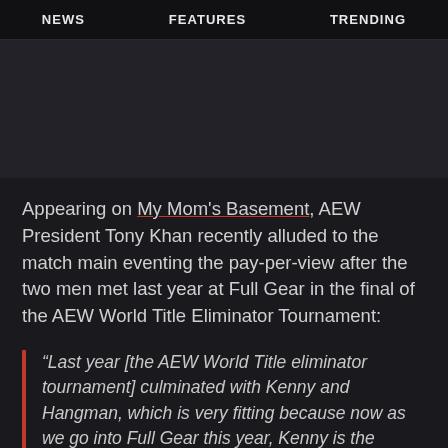NEWS   FEATURES   TRENDING
[Figure (photo): Dark hero image placeholder area]
Appearing on My Mom's Basement, AEW President Tony Khan recently alluded to the match main eventing the pay-per-view after the two men met last year at Full Gear in the final of the AEW World Title Eliminator Tournament:
“Last year [the AEW World Title eliminator tournament] culminated with Kenny and Hangman, which is very fitting because now as we go into Full Gear this year, Kenny is the champion and he’s facing Hangman.”